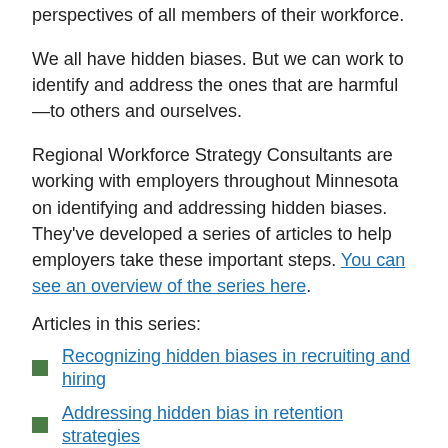perspectives of all members of their workforce.
We all have hidden biases. But we can work to identify and address the ones that are harmful—to others and ourselves.
Regional Workforce Strategy Consultants are working with employers throughout Minnesota on identifying and addressing hidden biases. They've developed a series of articles to help employers take these important steps. You can see an overview of the series here.
Articles in this series:
Recognizing hidden biases in recruiting and hiring
Addressing hidden bias in retention strategies
Sustaining an inclusive workplace
The more awareness and consciousness we can bring to hidden bias, the more likely we will be able to make decisions in a way that is not only fair, but based in better talent management for your company.